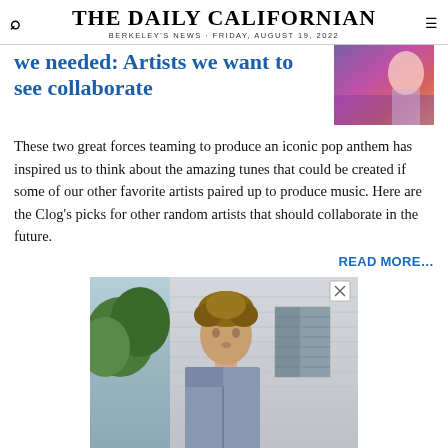THE DAILY CALIFORNIAN — BERKELEY'S NEWS · FRIDAY, AUGUST 19, 2022
we needed: Artists we want to see collaborate
These two great forces teaming to produce an iconic pop anthem has inspired us to think about the amazing tunes that could be created if some of our other favorite artists paired up to produce music. Here are the Clog's picks for other random artists that should collaborate in the future.
READ MORE…
[Figure (photo): Advertisement photo of a young man with curly hair wearing a denim jacket, standing in front of a house with shuttered windows and trees in background]